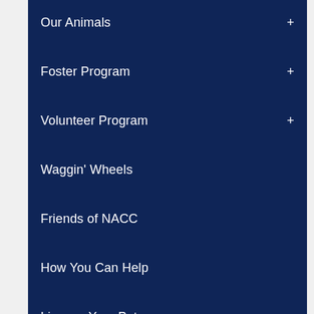Our Animals
Foster Program
Volunteer Program
Waggin' Wheels
Friends of NACC
How You Can Help
License Your Pet
Monthly Stats (PDF)